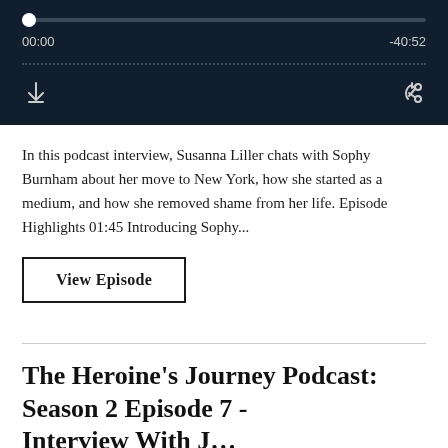[Figure (screenshot): Podcast audio player with seek bar at 00:00, total duration -40:52, dotted separator line, download and share icons on dark navy background]
In this podcast interview, Susanna Liller chats with Sophy Burnham about her move to New York, how she started as a medium, and how she removed shame from her life. Episode Highlights 01:45 Introducing Sophy...
View Episode
The Heroine's Journey Podcast: Season 2 Episode 7 - Interview With J...